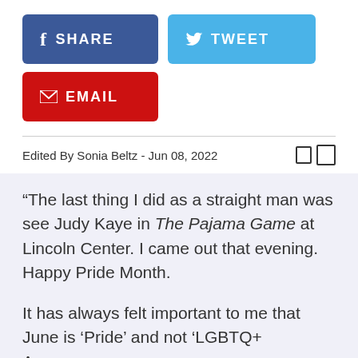[Figure (screenshot): Facebook Share button (dark blue), Twitter Tweet button (light blue), and Email button (red) — social sharing buttons]
Edited By Sonia Beltz - Jun 08, 2022
“The last thing I did as a straight man was see Judy Kaye in The Pajama Game at Lincoln Center. I came out that evening. Happy Pride Month.

It has always felt important to me that June is ‘Pride’ and not ‘LGBTQ+ Awareness